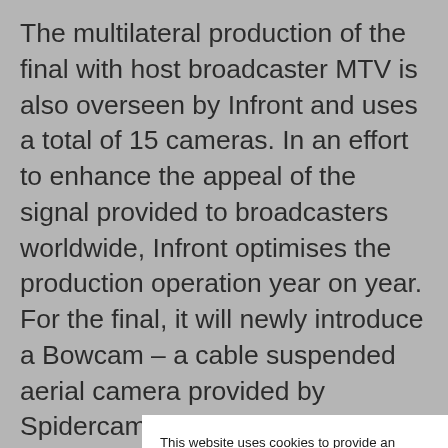The multilateral production of the final with host broadcaster MTV is also overseen by Infront and uses a total of 15 cameras. In an effort to enhance the appeal of the signal provided to broadcasters worldwide, Infront optimises the production operation year on year. For the final, it will newly introduce a Bowcam – a cable suspended aerial camera provided by Spidercam. The Bowcam travels along a point-to-point path, but with the
This website uses cookies to provide an efficient web service, collect information about how you interact with our website and to remember you. We use this information in order to improve and customize your browsing experience and for analytics and metrics about our visitors both on this website and other media. To find out more about the cookies we use, see our Privacy Policy.
We also use LinkedIn Insight to personalize advertising on LinkedIn. These cookies, however, are subject to your consent.